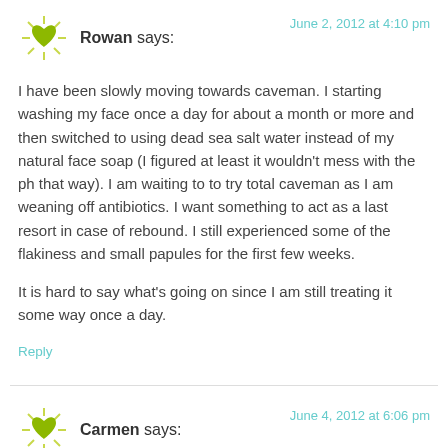Rowan says: — June 2, 2012 at 4:10 pm
I have been slowly moving towards caveman. I starting washing my face once a day for about a month or more and then switched to using dead sea salt water instead of my natural face soap (I figured at least it wouldn't mess with the ph that way). I am waiting to to try total caveman as I am weaning off antibiotics. I want something to act as a last resort in case of rebound. I still experienced some of the flakiness and small papules for the first few weeks.

It is hard to say what's going on since I am still treating it some way once a day.
Reply
Carmen says: — June 4, 2012 at 6:06 pm